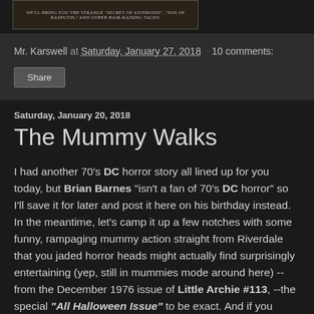[Figure (photo): Partial bottom of a comic book cover image, dark/vintage style, with text mentioning 'Secret of Asteroids', 'Son of Rasputin', and 'Hair-Raising Tales']
Mr. Karswell at Saturday, January 27, 2018   10 comments:
Share
Saturday, January 20, 2018
The Mummy Walks
I had another 70's DC horror story all lined up for you today, but Brian Barnes "isn't a fan of 70's DC horror" so I'll save it for later and post it here on his birthday instead. In the meantime, let's camp it up a few notches with some funny, rampaging mummy action straight from Riverdale that you jaded horror heads might actually find surprisingly entertaining (yep, still in mummies mode around here) --from the December 1976 issue of Little Archie #113, --the special "All Halloween Issue" to be exact. And if you enjoy today's post, check my other blog later this week as I'll post another story from this issue over there too, along with a few other